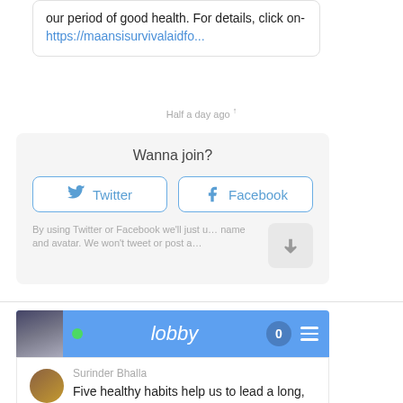our period of good health. For details, click on- https://maansisurvivalaidfo...
Half a day ago ↑
Wanna join?
Twitter
Facebook
By using Twitter or Facebook we'll just u... name and avatar. We won't tweet or post a...
[Figure (screenshot): Lobby chat header bar with blue background, green dot, lobby text, badge showing 0, and hamburger menu icon]
Surinder Bhalla
Five healthy habits help us to lead a long, disease-free life. A healthy lifestyle can substantially extend